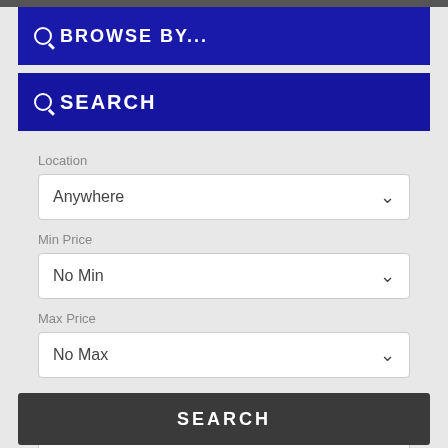BROWSE BY...
SEARCH
Location
Anywhere
Min Price
No Min
Max Price
No Max
Property Type
Any
SEARCH